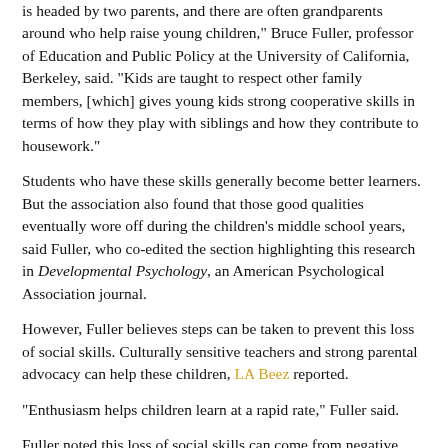is headed by two parents, and there are often grandparents around who help raise young children," Bruce Fuller, professor of Education and Public Policy at the University of California, Berkeley, said. "Kids are taught to respect other family members, [which] gives young kids strong cooperative skills in terms of how they play with siblings and how they contribute to housework."
Students who have these skills generally become better learners. But the association also found that those good qualities eventually wore off during the children's middle school years, said Fuller, who co-edited the section highlighting this research in Developmental Psychology, an American Psychological Association journal.
However, Fuller believes steps can be taken to prevent this loss of social skills. Culturally sensitive teachers and strong parental advocacy can help these children, LA Beez reported.
"Enthusiasm helps children learn at a rapid rate," Fuller said.
Fuller noted this loss of social skills can come from negative peer pressure and teachers who have low expectations for kids of color.